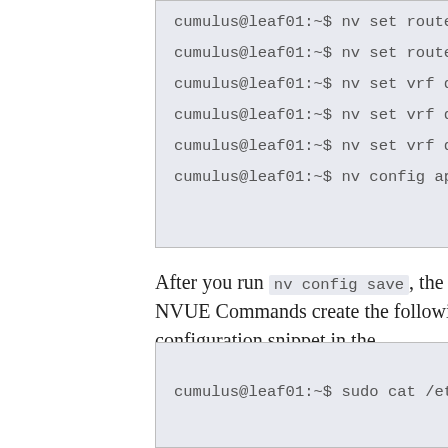cumulus@leaf01:~$ nv set router
cumulus@leaf01:~$ nv set router
cumulus@leaf01:~$ nv set vrf def
cumulus@leaf01:~$ nv set vrf def
cumulus@leaf01:~$ nv set vrf def
cumulus@leaf01:~$ nv config appl
After you run nv config save, the NVUE Commands create the following configuration snippet in the /etc/nvue.d/startup.yaml file:
cumulus@leaf01:~$ sudo cat /etc/